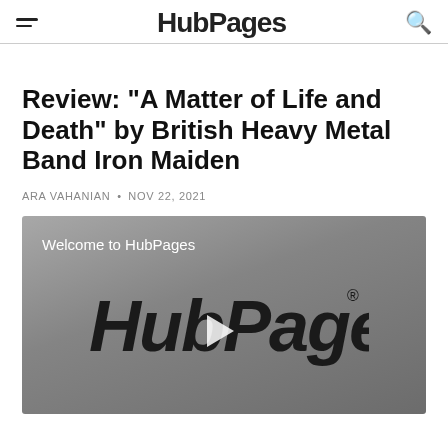HubPages
Review: "A Matter of Life and Death" by British Heavy Metal Band Iron Maiden
ARA VAHANIAN • NOV 22, 2021
[Figure (screenshot): Video player thumbnail showing HubPages logo with play button on a grey background, with text 'Welcome to HubPages']